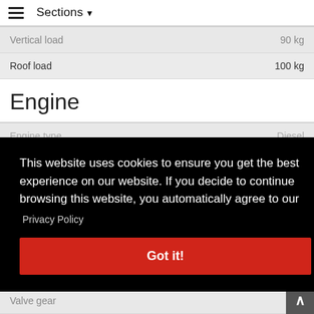Sections
| Property | Value |
| --- | --- |
| Vertical load | 90 kg |
| Roof load | 100 kg |
Engine
| Property | Value |
| --- | --- |
| Engine type | Diesel |
| Valve gear |  |
This website uses cookies to ensure you get the best experience on our website. If you decide to continue browsing this website, you automatically agree to our
Privacy Policy
Got it!